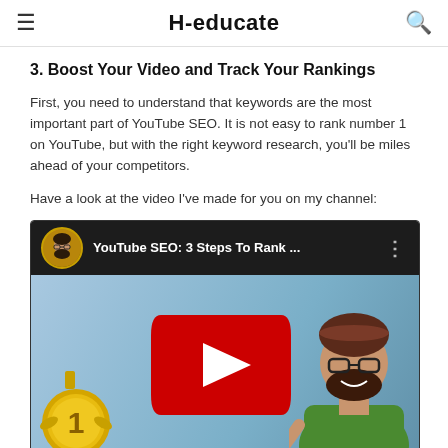H-educate
3. Boost Your Video and Track Your Rankings
First, you need to understand that keywords are the most important part of YouTube SEO. It is not easy to rank number 1 on YouTube, but with the right keyword research, you'll be miles ahead of your competitors.
Have a look at the video I've made for you on my channel:
[Figure (screenshot): YouTube video thumbnail for 'YouTube SEO: 3 Steps To Rank ...' showing a YouTube-style video card with channel avatar, video title, three-dot menu, and thumbnail image featuring a gold #1 medal, YouTube play button logo, and a smiling man in a green hoodie on a blue background.]